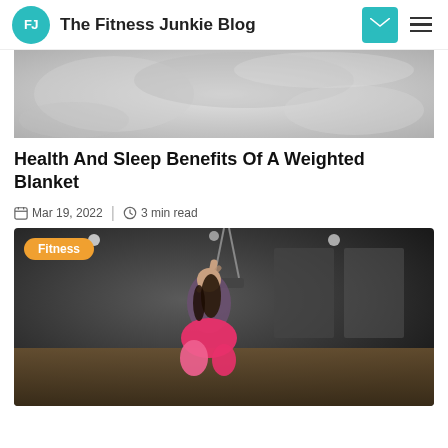FJ  The Fitness Junkie Blog
[Figure (photo): Close-up of a grey/white weighted blanket or pillow, grayscale tone]
Health And Sleep Benefits Of A Weighted Blanket
Mar 19, 2022  |  3 min read
[Figure (photo): Woman in a gym doing TRX suspension training, wearing pink bottoms, dark gym background. Fitness category label overlaid.]